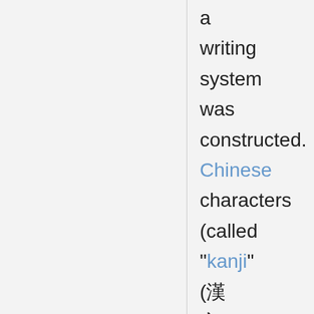a writing system was constructed. Chinese characters (called "kanji" (漢字)) were used to write either